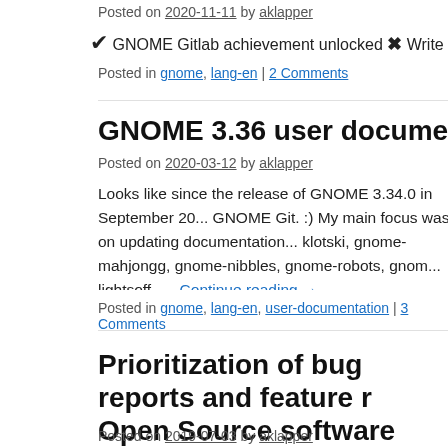Posted on 2020-11-11 by aklapper
✔ GNOME Gitlab achievement unlocked ✖ Write something a
Posted in gnome, lang-en | 2 Comments
GNOME 3.36 user documentation update
Posted on 2020-03-12 by aklapper
Looks like since the release of GNOME 3.34.0 in September 20... GNOME Git. :) My main focus was on updating documentation... klotski, gnome-mahjongg, gnome-nibbles, gnome-robots, gnom... lightsoff, … Continue reading →
Posted in gnome, lang-en, user-documentation | 3 Comments
Prioritization of bug reports and feature r Open Source software projects
Posted on 2019-07-03 by aklapper